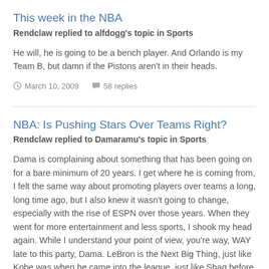This week in the NBA
Rendclaw replied to alfdogg's topic in Sports
He will, he is going to be a bench player. And Orlando is my Team B, but damn if the Pistons aren't in their heads.
March 10, 2009   58 replies
NBA: Is Pushing Stars Over Teams Right?
Rendclaw replied to Damaramu's topic in Sports
Dama is complaining about something that has been going on for a bare minimum of 20 years. I get where he is coming from, I felt the same way about promoting players over teams a long, long time ago, but I also knew it wasn't going to change, especially with the rise of ESPN over those years. When they went for more entertainment and less sports, I shook my head again. While I understand your point of view, you're way, WAY late to this party, Dama. LeBron is the Next Big Thing, just like Kobe was when he came into the league, just like Shaq before him, like Jordan before him. That's the nature of the beast, kid. Its the way it has been, and